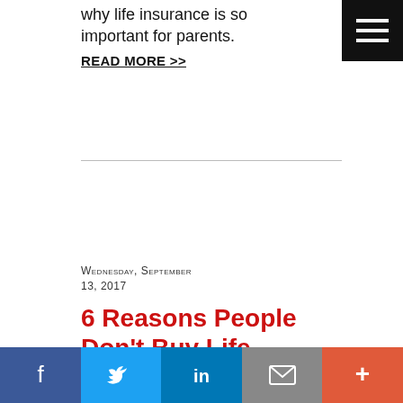why life insurance is so important for parents.
READ MORE >>
Wednesday, September 13, 2017
6 Reasons People Don't Buy Life Insurance
[Figure (logo): Circular logo icon with person/accessibility symbol]
Facebook  Twitter  LinkedIn  Email  More